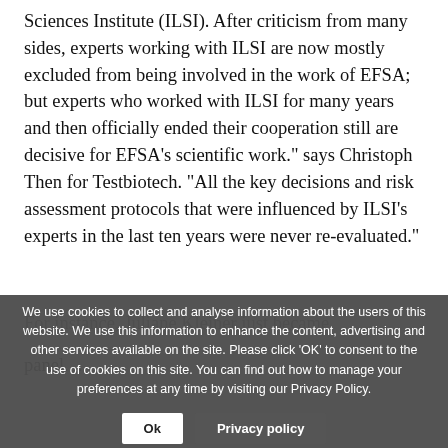Sciences Institute (ILSI). After criticism from many sides, experts working with ILSI are now mostly excluded from being involved in the work of EFSA; but experts who worked with ILSI for many years and then officially ended their cooperation still are decisive for EFSA’s scientific work.” says Christoph Then for Testbiotech. “All the key decisions and risk assessment protocols that were influenced by ILSI’s experts in the last ten years were never re-evaluated.”
For instance, Juliane Kleiner just became [obscured by cookie banner]
[cookie overlay text] We use cookies to collect and analyse information about the users of this website. We use this information to enhance the content, advertising and other services available on the site. Please click ‘OK’ to consent to the use of cookies on this site. You can find out how to manage your preferences at any time by visiting our Privacy Policy.